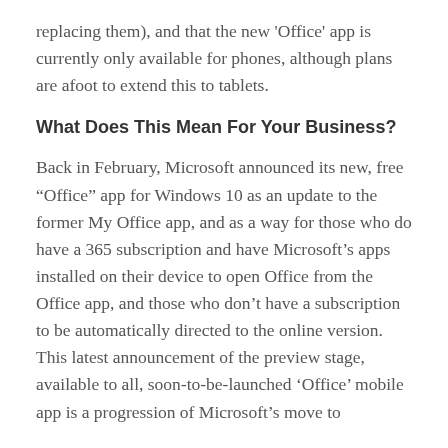replacing them), and that the new ‘Office’ app is currently only available for phones, although plans are afoot to extend this to tablets.
What Does This Mean For Your Business?
Back in February, Microsoft announced its new, free “Office” app for Windows 10 as an update to the former My Office app, and as a way for those who do have a 365 subscription and have Microsoft’s apps installed on their device to open Office from the Office app, and those who don’t have a subscription to be automatically directed to the online version. This latest announcement of the preview stage, available to all, soon-to-be-launched ‘Office’ mobile app is a progression of Microsoft’s move to